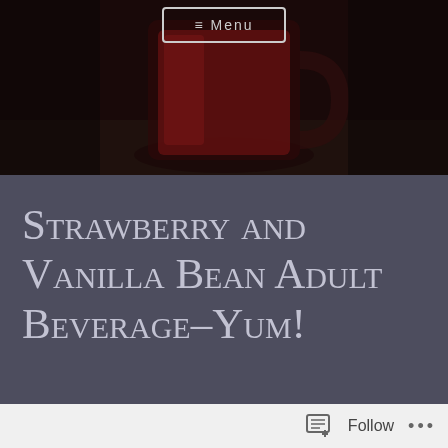[Figure (photo): Dark atmospheric photo of a red/berry drink in a glass mug, with a Menu button overlay at the top center]
Strawberry and Vanilla Bean Adult Beverage–Yum!
thebrightside247   Keto, Recipes, Weight Loss   November 18, 2018   1 Minute
Well, I am down two more pounds….just in
Follow   •••